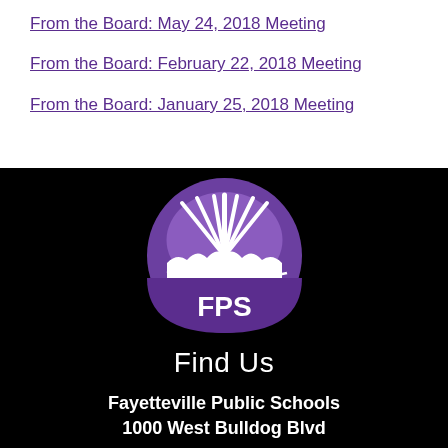From the Board: May 24, 2018 Meeting
From the Board: February 22, 2018 Meeting
From the Board: January 25, 2018 Meeting
[Figure (logo): FPS (Fayetteville Public Schools) circular logo with purple background, white sunburst/rays design with mountain silhouette, and 'FPS' text at bottom]
Find Us
Fayetteville Public Schools
1000 West Bulldog Blvd